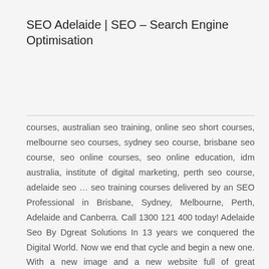SEO Adelaide | SEO – Search Engine Optimisation
courses, australian seo training, online seo short courses, melbourne seo courses, sydney seo course, brisbane seo course, seo online courses, seo online education, idm australia, institute of digital marketing, perth seo course, adelaide seo … seo training courses delivered by an SEO Professional in Brisbane, Sydney, Melbourne, Perth, Adelaide and Canberra. Call 1300 121 400 today! Adelaide Seo By Dgreat Solutions In 13 years we conquered the Digital World. Now we end that cycle and begin a new one. With a new image and a new website full of great experiences that is … Top Seo Companies Adelaide Seo price adelaide seo packages Adelaide Adelaide Seo Meetup Best Seo Companies For Small Business Adelaide But this (perhaps) provocative article shows that marketing number in